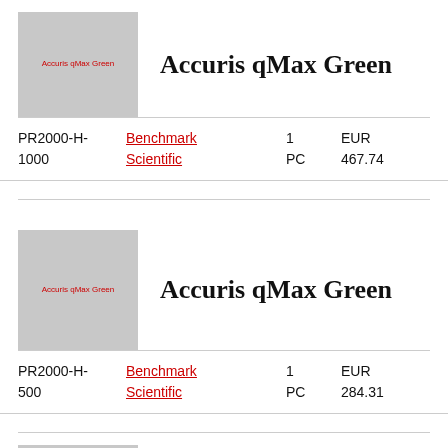[Figure (photo): Product image placeholder for Accuris qMax Green (gray rectangle with red text label)]
Accuris qMax Green
| SKU | Brand | Qty | Price |
| --- | --- | --- | --- |
| PR2000-H-1000 | Benchmark Scientific | 1 PC | EUR 467.74 |
[Figure (photo): Product image placeholder for Accuris qMax Green (gray rectangle with red text label)]
Accuris qMax Green
| SKU | Brand | Qty | Price |
| --- | --- | --- | --- |
| PR2000-H-500 | Benchmark Scientific | 1 PC | EUR 284.31 |
[Figure (photo): Partial product image placeholder at bottom of page]